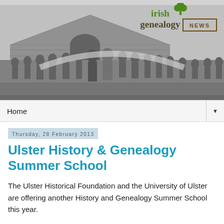[Figure (photo): Black and white historical photograph of a crowd of people gathered outdoors near a wooden building, with what appears to be a ceremonial arch or banner. An 'Irish Genealogy News' logo with shamrock is overlaid in the top right corner.]
Home
Thursday, 28 February 2013
Ulster History & Genealogy Summer School
The Ulster Historical Foundation and the University of Ulster are offering another History and Genealogy Summer School this year.